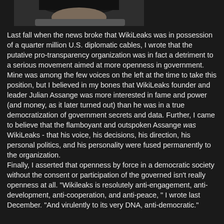[Figure (photo): Partial photograph of a person, cropped at top, showing upper body against a dark background]
Last fall when the news broke that WikiLeaks was in possession of a quarter million U.S. diplomatic cables, I wrote that the putative pro-transparency organization was in fact a detriment to a serious movement aimed at more openness in government. Mine was among the few voices on the left at the time to take this position, but I believed in my bones that WikiLeaks founder and leader Julian Assange was more interested in fame and power (and money, as it later turned out) than he was in a true democratization of government secrets and data. Further, I came to believe that the flamboyant and outspoken Assange was WikiLeaks - that his voice, his decisions, his direction, his personal politics, and his personality were fused permanently to the organization.
Finally, I asserted that openness by force in a democratic society without the consent or participation of the governed isn't really openness at all. "Wikileaks is resolutely anti-engagement, anti-development, anti-cooperation, and anti-peace, " I wrote last December. "And virulently to its very DNA, anti-democratic."